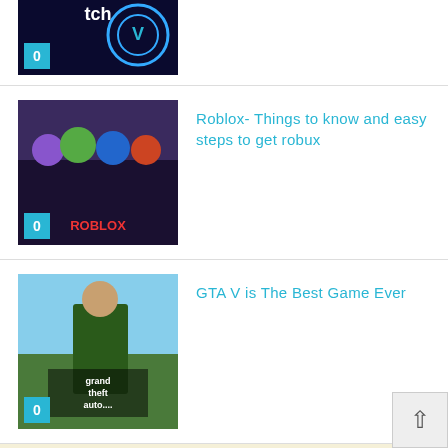[Figure (screenshot): Fortnite/game thumbnail with badge showing 0]
[Figure (screenshot): Roblox game thumbnail with badge showing 0]
Roblox- Things to know and easy steps to get robux
[Figure (screenshot): Grand Theft Auto V thumbnail with badge showing 0]
GTA V is The Best Game Ever
About Me
[Figure (photo): Photo of a person from behind, blurred background]